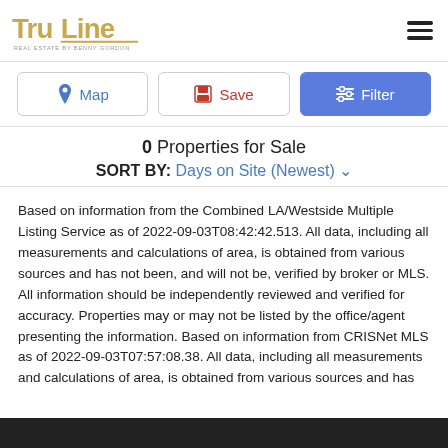TruLine Real Estate by Benny Gordon
Map | Save | Filter
0 Properties for Sale
SORT BY: Days on Site (Newest)
Based on information from the Combined LA/Westside Multiple Listing Service as of 2022-09-03T08:42:42.513. All data, including all measurements and calculations of area, is obtained from various sources and has not been, and will not be, verified by broker or MLS. All information should be independently reviewed and verified for accuracy. Properties may or may not be listed by the office/agent presenting the information. Based on information from CRISNet MLS as of 2022-09-03T07:57:08.38. All data, including all measurements and calculations of area, is obtained from various sources and has not been, and will not be, verified by broker or MLS. All information should be independently reviewed and verified for accuracy. Properties may or may not be listed by the office/agent